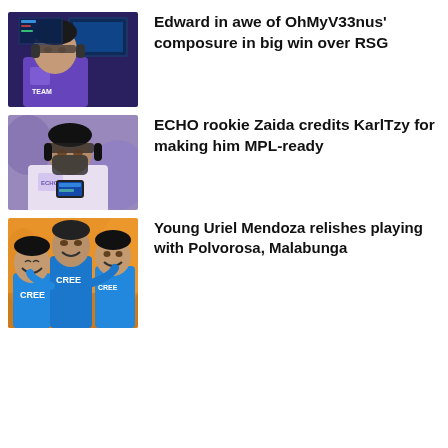[Figure (photo): A person wearing a purple team jersey, looking at a screen in an esports arena setting]
Edward in awe of OhMyV33nus' composure in big win over RSG
[Figure (photo): A person wearing a purple jersey and headphones/mask, looking at a phone or device, esports setting]
ECHO rookie Zaida credits KarlTzy for making him MPL-ready
[Figure (photo): Group of young men in blue sports jerseys celebrating, smiling, on an orange/sports court background]
Young Uriel Mendoza relishes playing with Polvorosa, Malabunga